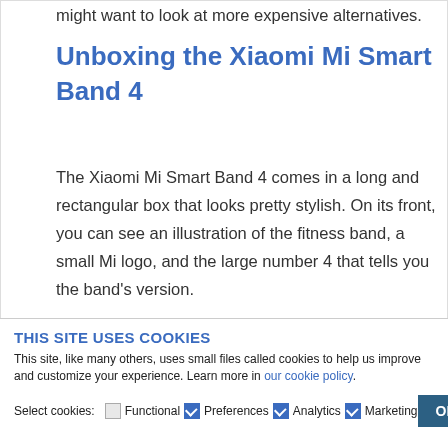might want to look at more expensive alternatives.
Unboxing the Xiaomi Mi Smart Band 4
The Xiaomi Mi Smart Band 4 comes in a long and rectangular box that looks pretty stylish. On its front, you can see an illustration of the fitness band, a small Mi logo, and the large number 4 that tells you the band's version.
THIS SITE USES COOKIES
This site, like many others, uses small files called cookies to help us improve and customize your experience. Learn more in our cookie policy.